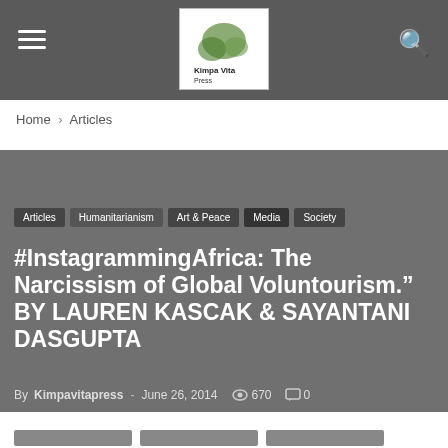[Figure (logo): Website logo with stylized text and green leaf/plant illustration on white background]
Home › Articles
Articles
Humanitarianism
Art & Peace
Media
Society
#InstagrammingAfrica: The Narcissism of Global Voluntourism." BY LAUREN KASCAK & SAYANTANI DASGUPTA
By Kimpavitapress - June 26, 2014  670  0